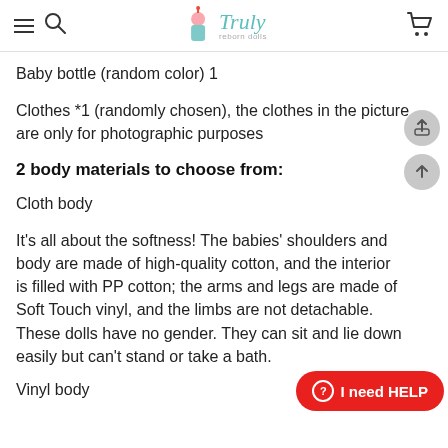Truly reborn dolls — navigation header with logo
Baby bottle (random color) 1
Clothes *1 (randomly chosen), the clothes in the picture are only for photographic purposes
2 body materials to choose from:
Cloth body
It's all about the softness! The babies' shoulders and body are made of high-quality cotton, and the interior is filled with PP cotton; the arms and legs are made of Soft Touch vinyl, and the limbs are not detachable. These dolls have no gender. They can sit and lie down easily but can't stand or take a bath.
Vinyl body